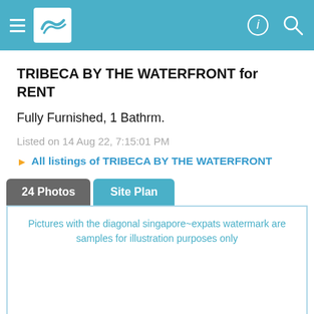Navigation header with menu, logo, and icons
TRIBECA BY THE WATERFRONT for RENT
Fully Furnished, 1 Bathrm.
Listed on 14 Aug 22, 7:15:01 PM
► All listings of TRIBECA BY THE WATERFRONT
24 Photos   Site Plan
Pictures with the diagonal singapore~expats watermark are samples for illustration purposes only